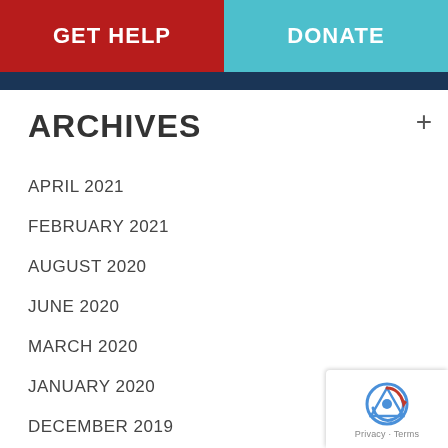GET HELP | DONATE
ARCHIVES
APRIL 2021
FEBRUARY 2021
AUGUST 2020
JUNE 2020
MARCH 2020
JANUARY 2020
DECEMBER 2019
OCTOBER 2019
SEPTEMBER 2019
AUGUST 2019
JULY 2019